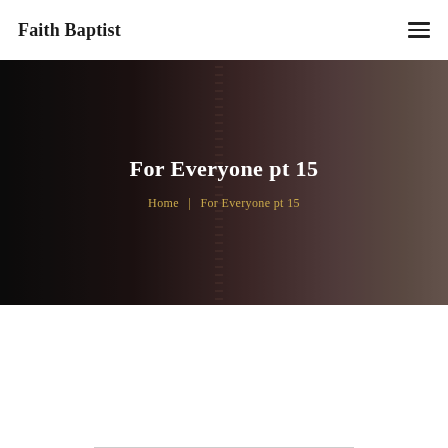Faith Baptist
For Everyone pt 15
Home  |  For Everyone pt 15